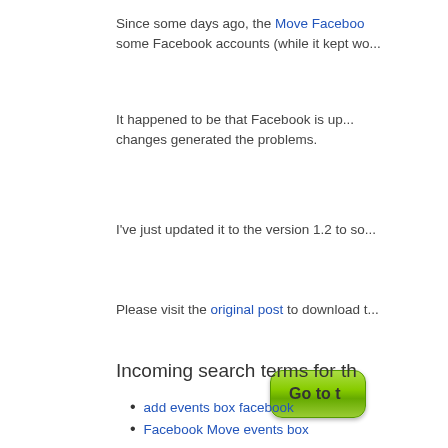Since some days ago, the Move Facebook [link] some Facebook accounts (while it kept wo...
It happened to be that Facebook is up... changes generated the problems.
I've just updated it to the version 1.2 to so...
Please visit the original post [link] to download t...
[Figure (other): Green button with text 'Go to t...']
Incoming search terms for th...
add events box facebook
Facebook Move events box
facebook move events
facebook events scripts
events box facebook?
move events box